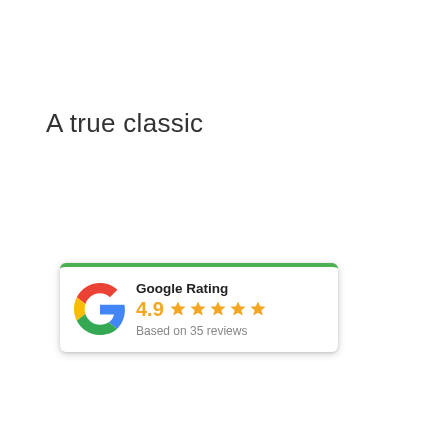A true classic
[Figure (infographic): Google Rating widget with green top border, Google 'G' logo, rating label 'Google Rating', score '4.9', five orange stars, and text 'Based on 35 reviews']